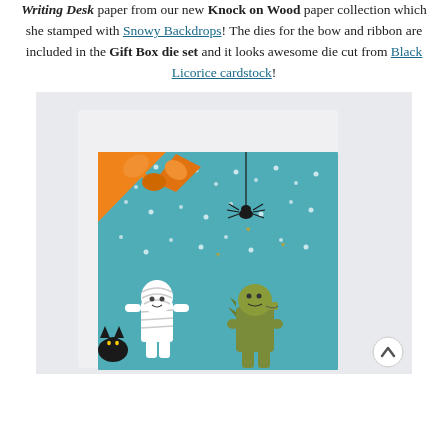Writing Desk paper from our new Knock on Wood paper collection which she stamped with Snowy Backdrops! The dies for the bow and ribbon are included in the Gift Box die set and it looks awesome die cut from Black Licorice cardstock!
[Figure (photo): A Halloween-themed handmade greeting card featuring a teal/blue patterned background with white dots and gold hearts. An orange bow and ribbon are die-cut and placed diagonally in the upper left. A black hanging spider is stamped near the top center. At the bottom are cute cartoon characters: a mummy, a child in a dinosaur costume, and a black cat.]